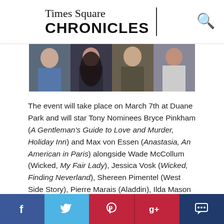Times Square CHRONICLES
[Figure (photo): A horizontal strip photo showing four people (actors): a young man in blue shirt on far left, a woman with long dark hair, a man in the center, and a woman on the far right in a white top.]
The event will take place on March 7th at Duane Park and will star Tony Nominees Bryce Pinkham (A Gentleman's Guide to Love and Murder, Holiday Inn) and Max von Essen (Anastasia, An American in Paris) alongside Wade McCollum (Wicked, My Fair Lady), Jessica Vosk (Wicked, Finding Neverland), Shereen Pimentel (West Side Story), Pierre Marais (Aladdin), Ilda Mason (West Side Story), Mikaela Bennett (Renascence, The Golden Apple) and Jonathan Hoover (A Chorus Line).
[Figure (infographic): Social media share buttons bar: Facebook (blue), Twitter (light blue), Pinterest (red), Google+ (red), Comment/chat (dark blue)]